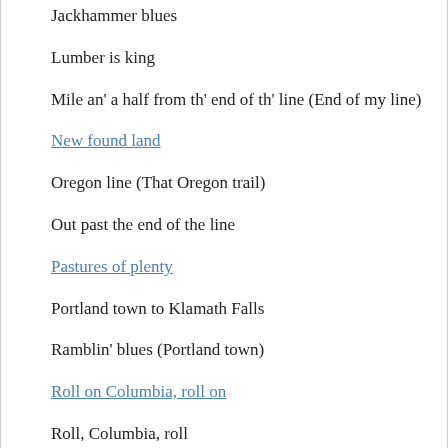Jackhammer blues
Lumber is king
Mile an' a half from th' end of th' line (End of my line)
New found land
Oregon line (That Oregon trail)
Out past the end of the line
Pastures of plenty
Portland town to Klamath Falls
Ramblin' blues (Portland town)
Roll on Columbia, roll on
Roll, Columbia, roll